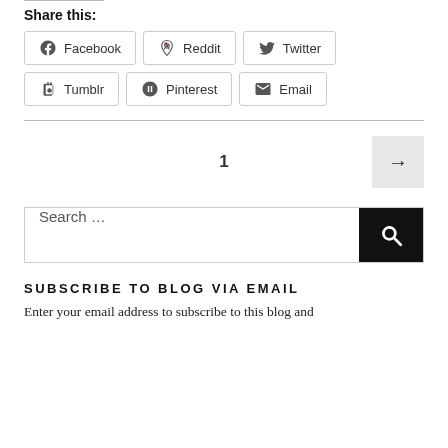Share this:
Facebook  Reddit  Twitter  Tumblr  Pinterest  Email
1
→
Search …
SUBSCRIBE TO BLOG VIA EMAIL
Enter your email address to subscribe to this blog and